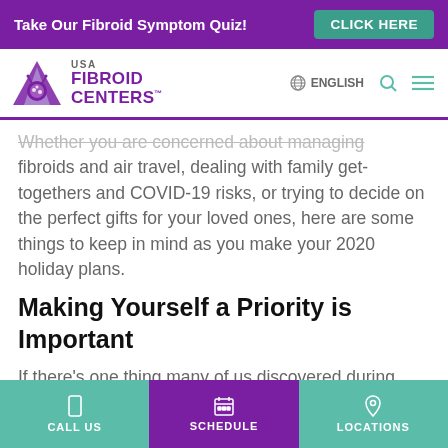Take Our Fibroid Symptom Quiz! CLICK HERE
[Figure (logo): USA Fibroid Centers logo with purple butterfly/leaf icon]
Whether you are concerned about managing fibroids and air travel, dealing with family get-togethers and COVID-19 risks, or trying to decide on the perfect gifts for your loved ones, here are some things to keep in mind as you make your 2020 holiday plans.
Making Yourself a Priority is Important
If there’s one thing many of us discovered during
CALL US   SCHEDULE   LOCATIONS